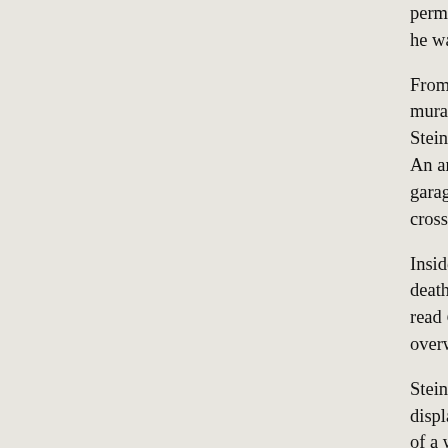permanently at the National Steinbeck Center two… he was raised in Salinas, we scheduled a detour be…
From the street, the center is relatively modest, on… mural is painted on the side of a building across th… Steinbeck's pages. The downtown that surrounds … An antiques store. An Internet cafe. A movie thea… garage tucked behind other buildings to maintain s… crosswalk signals. Rocking chairs.
Inside, the rooms are packed, ordered chronologic… death, with larger displays for his more lasting wo… read Of Mice and Men or The Grapes of Wrath or… overwhelms with its amount of information and p…
Steinbeck published Travels with Charley about s… display for the book is near the end. I knew Rocin… of a wall that cut off before the ceiling, but its wei… capable of going anywhere under possibly rigorou… wanted to run through every other room to the en…
I don't remember what I was reading when the ca… vision, something about The Winter of Our Disco… there it was. I looked at Rocinante, all cleaned an… and thought first about the years that it filled my c… generation before I was born, dominated me for a… and fall away and returned. Changed my life…